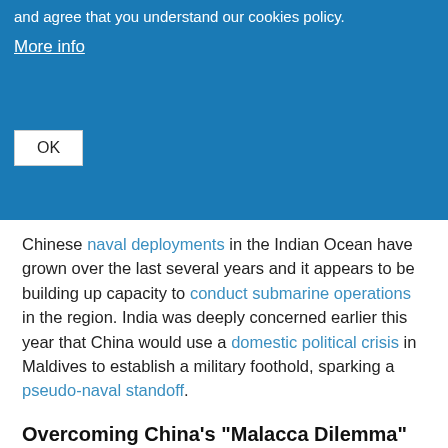and agree that you understand our cookies policy.
More info
OK
Chinese naval deployments in the Indian Ocean have grown over the last several years and it appears to be building up capacity to conduct submarine operations in the region. India was deeply concerned earlier this year that China would use a domestic political crisis in Maldives to establish a military foothold, sparking a pseudo-naval standoff.
Overcoming China’s “Malacca Dilemma”
Driving China’s expanding naval footprint in the Indian Ocean and its emphasis on